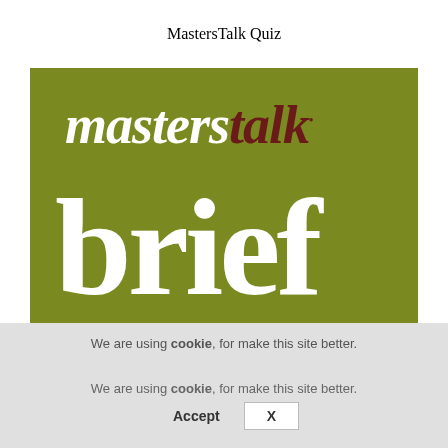MastersTalk Quiz
[Figure (logo): MastersTalk podcast logo on olive/dark yellow-green background. Top line shows 'masters' in white bold italic serif and 'talk' with a small dot above the k in dark brown bold italic serif. Below is 'brief' in very large white bold serif. Below that is 'tea' in large dark brown bold serif, partially cropped.]
We are using cookie, for make this site better.
Accept   X